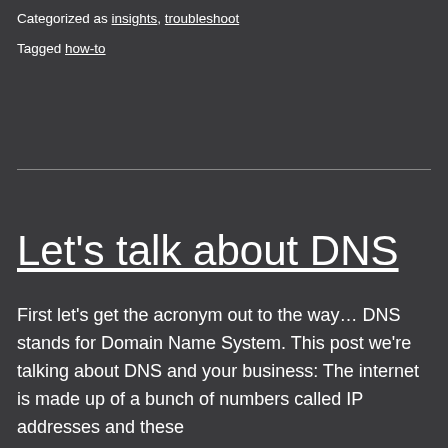Categorized as insights, troubleshoot
Tagged how-to
Let's talk about DNS
First let's get the acronym out to the way… DNS stands for Domain Name System. This post we're talking about DNS and your business: The internet is made up of a bunch of numbers called IP addresses and these